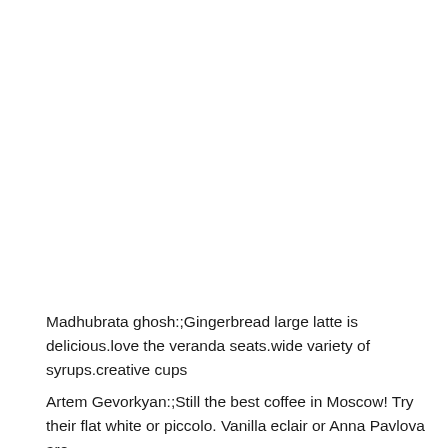Madhubrata ghosh:;Gingerbread large latte is delicious.love the veranda seats.wide variety of syrups.creative cups
Artem Gevorkyan:;Still the best coffee in Moscow! Try their flat white or piccolo. Vanilla eclair or Anna Pavlova are